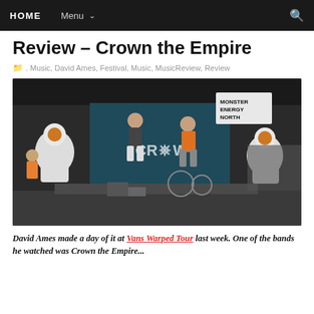HOME  Menu  🔍
Review – Crown the Empire
. Music, David Ames, Festival, Music, MusicReview, Review
[Figure (photo): Crown the Empire performing on stage at Vans Warped Tour. Two vocalists jumping/performing, astronaut mascots on stage sides, Crown the Empire banner behind them, Monster Energy North sign visible, crowd in background.]
David Ames made a day of it at Vans Warped Tour last week. One of the bands he watched was Crown the Empire...